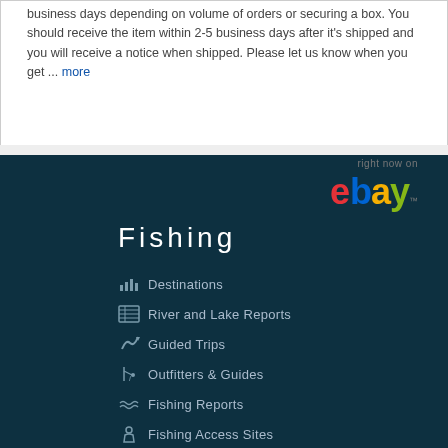business days depending on volume of orders or securing a box. You should receive the item within 2-5 business days after it's shipped and you will receive a notice when shipped. Please let us know when you get ... more
[Figure (logo): eBay logo with 'right now on' text above it]
Fishing
Destinations
River and Lake Reports
Guided Trips
Outfitters & Guides
Fishing Reports
Fishing Access Sites